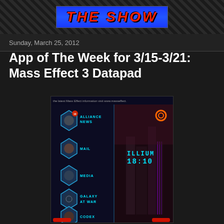THE SHOW
Sunday, March 25, 2012
App of The Week for 3/15-3/21: Mass Effect 3 Datapad
[Figure (screenshot): Screenshot of Mass Effect 3 Datapad app showing menu items: Alliance News (with notification badge 10), Mail, Media, Galaxy At War, Codex. Right side shows city of Illium with time 18:10]